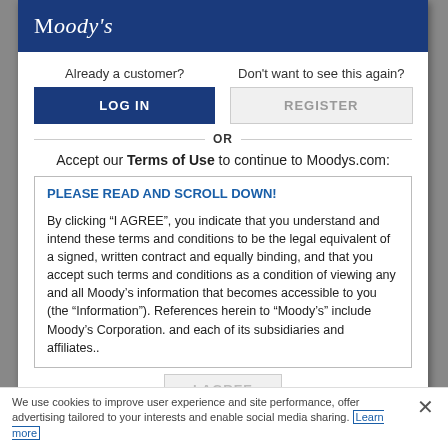[Figure (logo): Moody's logo in white text on dark blue header bar]
Already a customer?
Don't want to see this again?
LOG IN
REGISTER
OR
Accept our Terms of Use to continue to Moodys.com:
PLEASE READ AND SCROLL DOWN!
By clicking “I AGREE”, you indicate that you understand and intend these terms and conditions to be the legal equivalent of a signed, written contract and equally binding, and that you accept such terms and conditions as a condition of viewing any and all Moody’s information that becomes accessible to you (the “Information”). References herein to “Moody’s” include Moody’s Corporation. and each of its subsidiaries and affiliates..
I AGREE
We use cookies to improve user experience and site performance, offer advertising tailored to your interests and enable social media sharing. Learn more